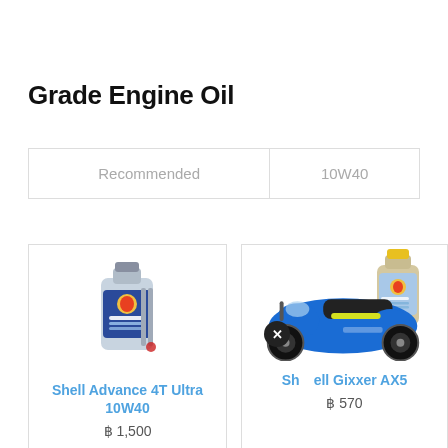Grade Engine Oil
| Recommended | 10W40 |
| --- | --- |
[Figure (photo): Shell Advance 4T Ultra 10W40 oil bottle product image]
Shell Advance 4T Ultra 10W40
฿ 1,500
[Figure (photo): Shell lubricant bottle and Suzuki Gixxer AX5 motorcycle product image with X badge overlay]
Shell Gixxer AX5
฿ 570